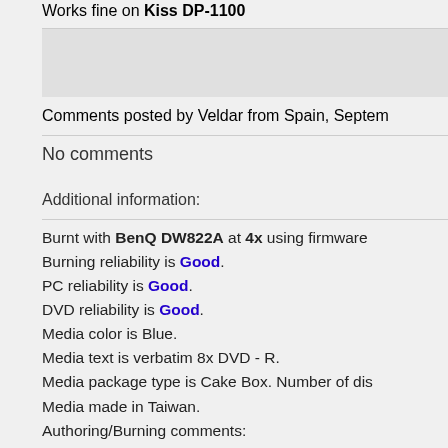Works fine on Kiss DP-1100
Comments posted by Veldar from Spain, Septem
No comments
Additional information:
Burnt with BenQ DW822A at 4x using firmware
Burning reliability is Good.
PC reliability is Good.
DVD reliability is Good.
Media color is Blue.
Media text is verbatim 8x DVD - R.
Media package type is Cake Box. Number of dis
Media made in Taiwan.
Authoring/Burning comments:
Nero